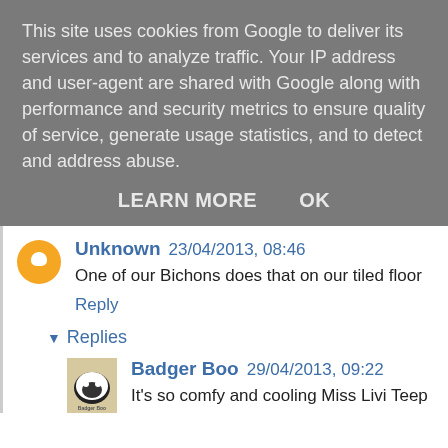This site uses cookies from Google to deliver its services and to analyze traffic. Your IP address and user-agent are shared with Google along with performance and security metrics to ensure quality of service, generate usage statistics, and to detect and address abuse.
LEARN MORE    OK
Unknown 23/04/2013, 08:46
One of our Bichons does that on our tiled floor
Reply
Replies
Badger Boo 29/04/2013, 09:22
It's so comfy and cooling Miss Livi Teep